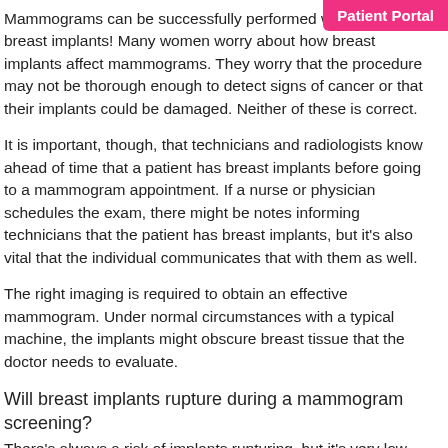Patient Portal
Mammograms can be successfully performed with saline breast implants! Many women worry about how breast implants affect mammograms. They worry that the procedure may not be thorough enough to detect signs of cancer or that their implants could be damaged. Neither of these is correct.
It is important, though, that technicians and radiologists know ahead of time that a patient has breast implants before going to a mammogram appointment. If a nurse or physician schedules the exam, there might be notes informing technicians that the patient has breast implants, but it's also vital that the individual communicates that with them as well.
The right imaging is required to obtain an effective mammogram. Under normal circumstances with a typical machine, the implants might obscure breast tissue that the doctor needs to evaluate.
Will breast implants rupture during a mammogram screening?
There's always a risk of implants rupturing, but it's very low.